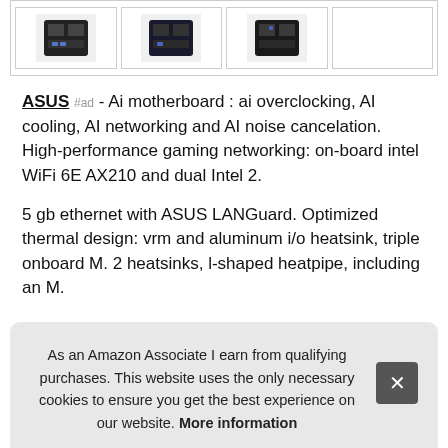[Figure (photo): Row of four ASUS motherboard product thumbnail images]
ASUS #ad - Ai motherboard : ai overclocking, AI cooling, AI networking and AI noise cancelation. High-performance gaming networking: on-board intel WiFi 6E AX210 and dual Intel 2.
5 gb ethernet with ASUS LANGuard. Optimized thermal design: vrm and aluminum i/o heatsink, triple onboard M. 2 heatsinks, l-shaped heatpipe, including an M.
More information #ad
2 ba... Rob... pow... cap... socket: designed to unleash the maximum performance of
As an Amazon Associate I earn from qualifying purchases. This website uses the only necessary cookies to ensure you get the best experience on our website. More information